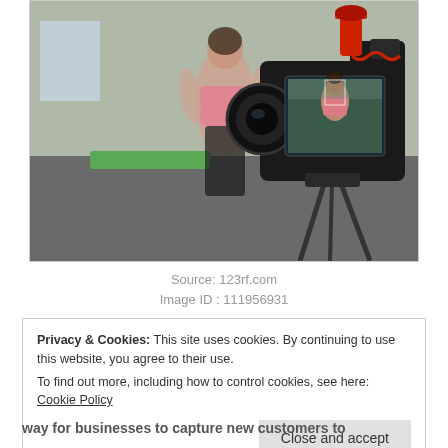[Figure (photo): A DSLR camera with a red microphone on top, pointed at a woman in a fitness studio. The camera's LCD screen shows the woman being filmed.]
Source: 123rf.com
Image ID : 111956931
Privacy & Cookies: This site uses cookies. By continuing to use this website, you agree to their use.
To find out more, including how to control cookies, see here: Cookie Policy
Close and accept
way for businesses to capture new customers to